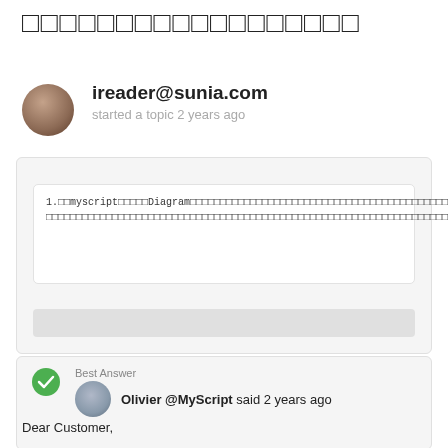□□□□□□□□□□□□□□□□□□
ireader@sunia.com
started a topic 2 years ago
1.□□myscript□□□□□Diagram□□□□□□□□□□□□□□□□□□□□□□□□□□□□□□□□□□□□□□□□□□□□□□□□□□□□□□□□□□□□□□□□□□□□□□□□□□□□□□□□□□□□□□□□□□□□□□□□□□□□□□□□□□□□□□□□□
Best Answer
Olivier @MyScript said 2 years ago
Dear Customer,
Thnak you for the video.